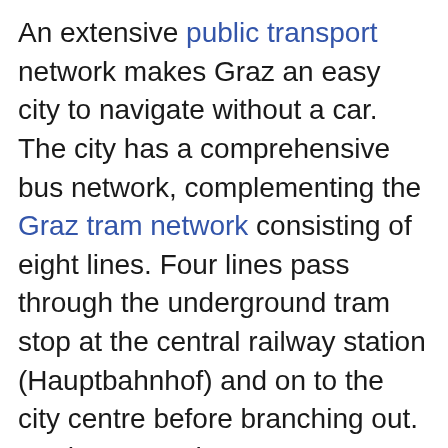An extensive public transport network makes Graz an easy city to navigate without a car. The city has a comprehensive bus network, complementing the Graz tram network consisting of eight lines. Four lines pass through the underground tram stop at the central railway station (Hauptbahnhof) and on to the city centre before branching out. Furthermore, there are seven night-time bus routes, although these run only at weekends and on evenings preceding public holidays.
The Schlossbergbahn, a funicular railway, and the Schlossberg lift, a vertical lift, link the city centre to the Schlossberg.
From the central railway station ( Hauptbahnhof), regional trains link to most of Styria. Direct trains